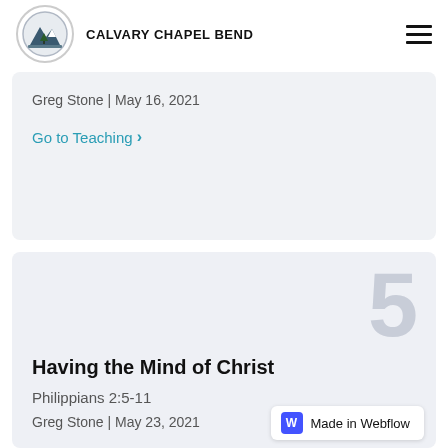Gospel Centered Synergy
CALVARY CHAPEL BEND
Greg Stone | May 16, 2021
Go to Teaching >
5
Having the Mind of Christ
Philippians 2:5-11
Greg Stone | May 23, 2021
Made in Webflow